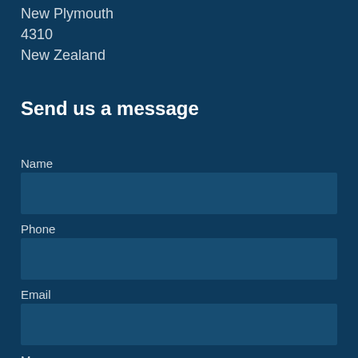New Plymouth
4310
New Zealand
Send us a message
Name
Phone
Email
Message